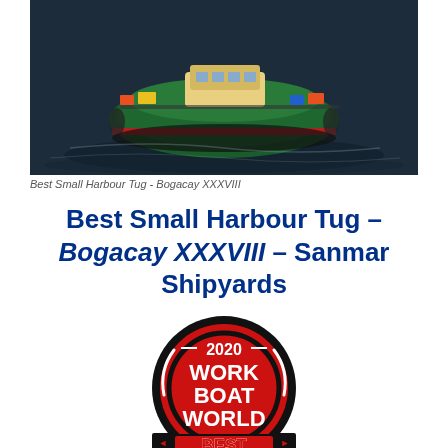[Figure (photo): Aerial view of a green harbour tug boat named Bogacay XXXVIII on dark water, photographed from above showing the vessel with colorful equipment on deck]
Best Small Harbour Tug - Bogacay XXXVIII
Best Small Harbour Tug – Bogacay XXXVIII – Sanmar Shipyards
[Figure (logo): 2020 Work Boat World Best award circular badge/logo in red, black and white colors with the text '2020 WORK BOAT WORLD BEST' arranged in a circular emblem design]